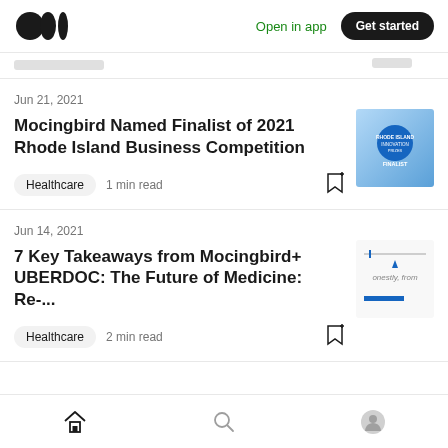Open in app | Get started
Jun 21, 2021
Mocingbird Named Finalist of 2021 Rhode Island Business Competition
Healthcare  1 min read
[Figure (photo): Thumbnail image with blue circle and FINALIST text on gradient background]
Jun 14, 2021
7 Key Takeaways from Mocingbird+ UBERDOC: The Future of Medicine: Re-...
Healthcare  2 min read
[Figure (photo): Thumbnail with text 'onestly, from' and blue line at bottom]